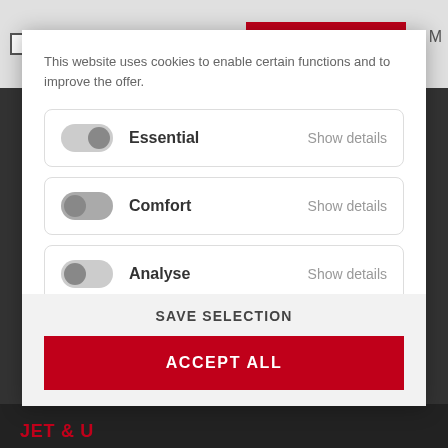Accept our privacy policy*
This website uses cookies to enable certain functions and to improve the offer.
Essential — Show details
Comfort — Show details
Analyse — Show details
SAVE SELECTION
ACCEPT ALL